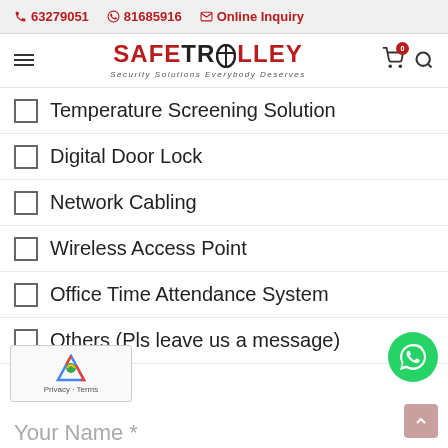63279051  81685916  Online Inquiry
[Figure (logo): SafeTrolley logo with tagline 'Security Solutions Everybody Deserves']
Temperature Screening Solution
Digital Door Lock
Network Cabling
Wireless Access Point
Office Time Attendance System
Others (Pls leave us a message)
Your Name *